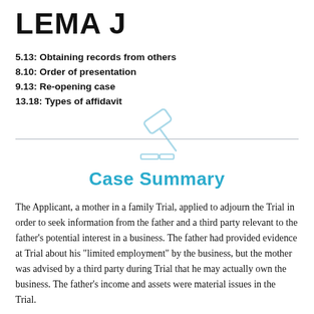LEMA J
5.13: Obtaining records from others
8.10: Order of presentation
9.13: Re-opening case
13.18: Types of affidavit
[Figure (illustration): Light blue gavel icon (judge's hammer) above a horizontal base, centered on page with a horizontal divider line]
Case Summary
The Applicant, a mother in a family Trial, applied to adjourn the Trial in order to seek information from the father and a third party relevant to the father’s potential interest in a business. The father had provided evidence at Trial about his “limited employment” by the business, but the mother was advised by a third party during Trial that he may actually own the business. The father’s income and assets were material issues in the Trial.